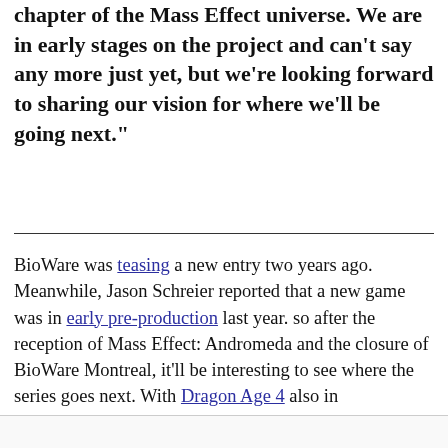chapter of the Mass Effect universe. We are in early stages on the project and can't say any more just yet, but we're looking forward to sharing our vision for where we'll be going next."
BioWare was teasing a new entry two years ago. Meanwhile, Jason Schreier reported that a new game was in early pre-production last year. so after the reception of Mass Effect: Andromeda and the closure of BioWare Montreal, it'll be interesting to see where the series goes next. With Dragon Age 4 also in development, it's likely a long ways off.